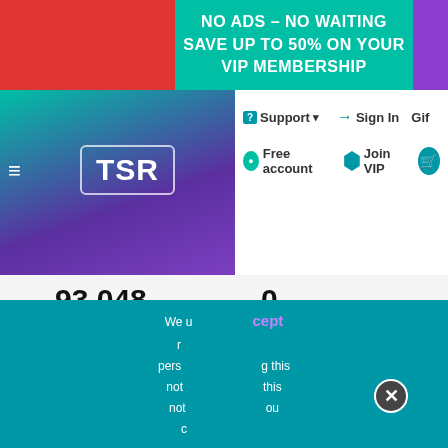[Figure (screenshot): TSR website screenshot showing navigation bar with logo, support/sign-in links, download stats of 93,048 downloads and 0 comments, a 'See more and download' button, a Westworld HBO show advertisement overlay, an HBO Max ad, and a cookie consent overlay]
NO ADS – NO WAITING
SAVE UP TO 50% ON YOUR VIP MEMBERSHIP
TSR
Support
Sign In
Free account
Join VIP
93,048 DOWNLOADS  0 COMMENTS
See more and download
WESTWORLD
SEE THE BATTLE FOR THE FUTURE
HBO max
SIGN UP NOW
PLANS START AT $9.99/MONTH
We u...  ...cept
r...
pers...   ...g this
not...   ...this
not...   ...ou
c...